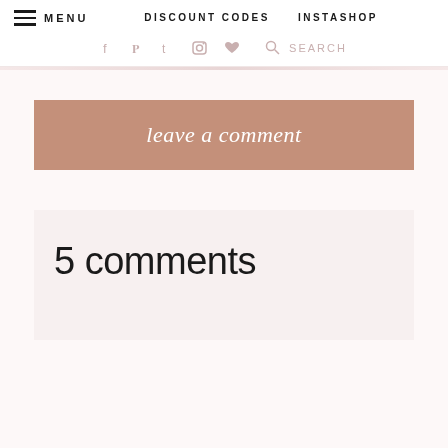MENU  DISCOUNT CODES  INSTASHOP
[Figure (screenshot): Social media icons: Facebook, Pinterest, Twitter, Instagram, Heart, Search with SEARCH label]
[Figure (illustration): Dusty rose/mauve rectangular button with cursive white text 'leave a comment']
5 comments